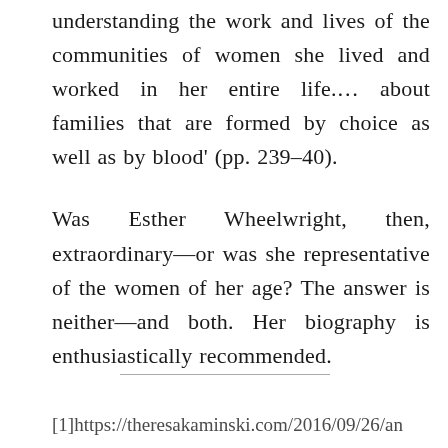understanding the work and lives of the communities of women she lived and worked in her entire life.... about families that are formed by choice as well as by blood' (pp. 239–40).
Was Esther Wheelwright, then, extraordinary—or was she representative of the women of her age? The answer is neither—and both. Her biography is enthusiastically recommended.
[1]https://theresakaminski.com/2016/09/26/an